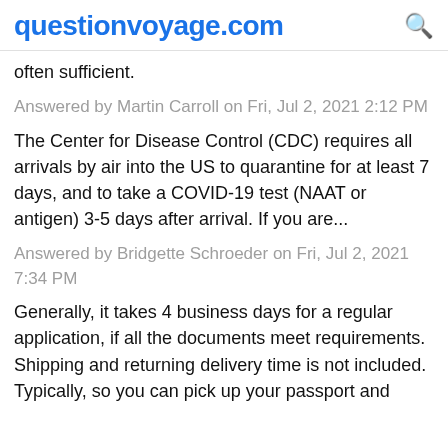questionvoyage.com
often sufficient.
Answered by Martin Carroll on Fri, Jul 2, 2021 2:12 PM
The Center for Disease Control (CDC) requires all arrivals by air into the US to quarantine for at least 7 days, and to take a COVID-19 test (NAAT or antigen) 3-5 days after arrival. If you are...
Answered by Bridgette Schroeder on Fri, Jul 2, 2021 7:34 PM
Generally, it takes 4 business days for a regular application, if all the documents meet requirements. Shipping and returning delivery time is not included. Typically, so you can pick up your passport and